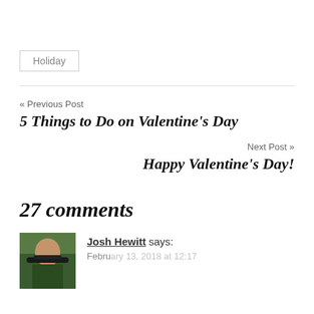Holiday
« Previous Post
5 Things to Do on Valentine's Day
Next Post »
Happy Valentine's Day!
27 comments
Josh Hewitt says:
February 13, 2018 at 12:17